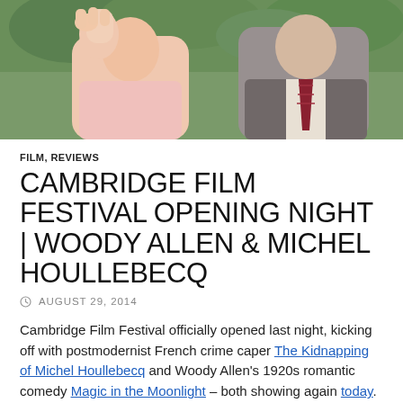[Figure (photo): Two people standing outdoors, one raising a hand, the other in a striped tie and grey jacket. Green foliage background.]
FILM, REVIEWS
CAMBRIDGE FILM FESTIVAL OPENING NIGHT | WOODY ALLEN & MICHEL HOULLEBECQ
© AUGUST 29, 2014
Cambridge Film Festival officially opened last night, kicking off with postmodernist French crime caper The Kidnapping of Michel Houllebecq and Woody Allen's 1920s romantic comedy Magic in the Moonlight – both showing again today.